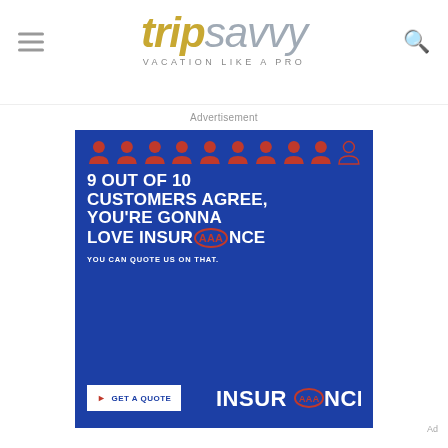TripSavvy — VACATION LIKE A PRO
Advertisement
[Figure (infographic): AAA Insurance advertisement on TripSavvy website. Dark blue background. Row of 10 person icons (9 red/filled, 1 outline). Large white bold text: '9 OUT OF 10 CUSTOMERS AGREE, YOU'RE GONNA LOVE INSUR[AAA]NCE'. Subtext: 'YOU CAN QUOTE US ON THAT.' Bottom bar: white 'GET A QUOTE' button, and 'INSUR[AAA]NCE' logo in white.]
Ad